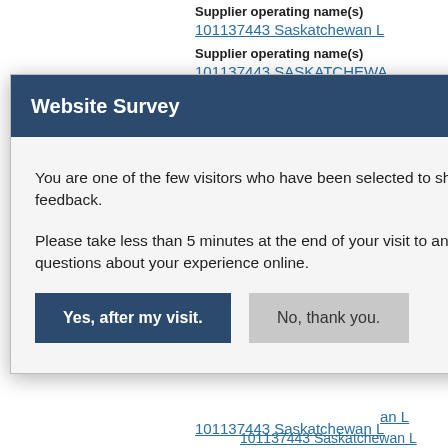Supplier operating name(s)
101137443 Saskatchewan L...
Supplier operating name(s)
101137443 SASKATCHEWA...
Supplier operating name(s)
101137443 Saskatchewan L... (truncated by modal)
Website Survey
You are one of the few visitors who have been selected to share your feedback.

Please take less than 5 minutes at the end of your visit to answer 6 questions about your experience online.
Yes, after my visit.
No, thank you.
101137443 Saskatchewan L... (bottom, truncated)